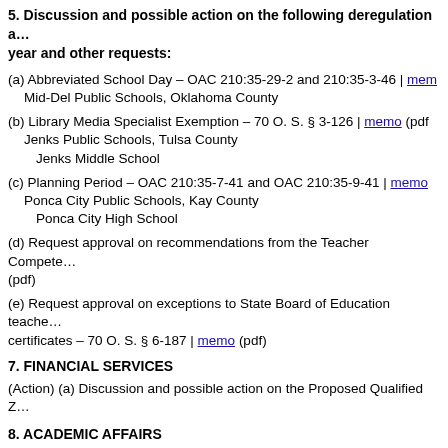5. Discussion and possible action on the following deregulation and other year and other requests:
(a) Abbreviated School Day – OAC 210:35-29-2 and 210:35-3-46 | memo
  Mid-Del Public Schools, Oklahoma County
(b) Library Media Specialist Exemption – 70 O. S. § 3-126 | memo (pdf
  Jenks Public Schools, Tulsa County
    Jenks Middle School
(c) Planning Period – OAC 210:35-7-41 and OAC 210:35-9-41 | memo
  Ponca City Public Schools, Kay County
    Ponca City High School
(d) Request approval on recommendations from the Teacher Compete… (pdf)
(e) Request approval on exceptions to State Board of Education teache… certificates – 70 O. S. § 6-187 | memo (pdf)
7. FINANCIAL SERVICES
(Action) (a) Discussion and possible action on the Proposed Qualified Z…
8. ACADEMIC AFFAIRS